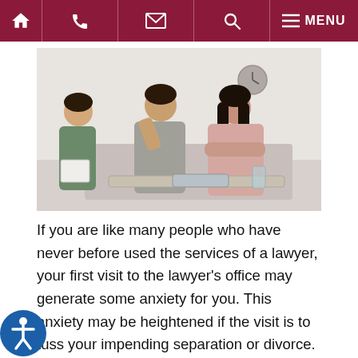Navigation bar with home, phone, email, search, and menu icons
[Figure (photo): A couple sitting on a couch, looking distressed and avoiding eye contact, across from a counselor or lawyer who is taking notes. The setting appears to be a professional office or counseling room.]
If you are like many people who have never before used the services of a lawyer, your first visit to the lawyer's office may generate some anxiety for you. This anxiety may be heightened if the visit is to discuss your impending separation or divorce. For this reason, it would be helpful for both you and the lawyer if you would prepare for the meeting, in advance, by making notes about the following that